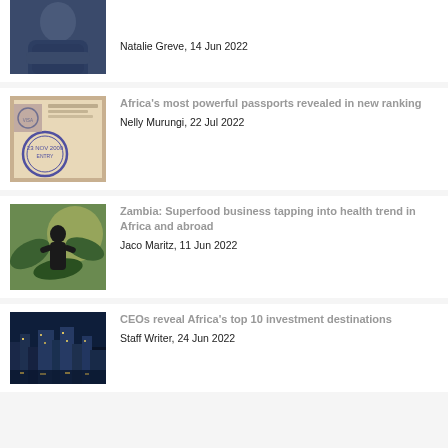[Figure (photo): Man in dark blue shirt with arms crossed, cropped at top]
Natalie Greve, 14 Jun 2022
[Figure (photo): Passport pages with visa stamps and circular stamp markings]
Africa's most powerful passports revealed in new ranking
Nelly Murungi, 22 Jul 2022
[Figure (photo): Silhouette of person standing among large tropical plants with sunlight behind]
Zambia: Superfood business tapping into health trend in Africa and abroad
Jaco Maritz, 11 Jun 2022
[Figure (photo): Aerial night view of African city skyline with illuminated buildings]
CEOs reveal Africa's top 10 investment destinations
Staff Writer, 24 Jun 2022